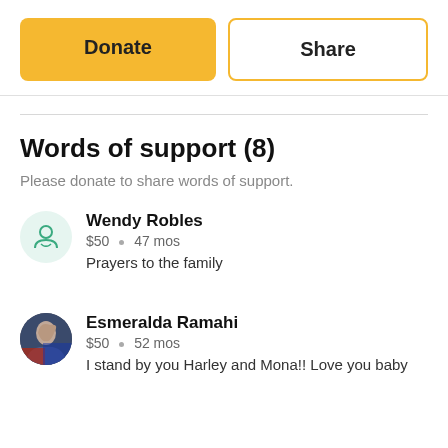Donate
Share
Words of support (8)
Please donate to share words of support.
Wendy Robles
$50 • 47 mos
Prayers to the family
Esmeralda Ramahi
$50 • 52 mos
I stand by you Harley and Mona!! Love you baby